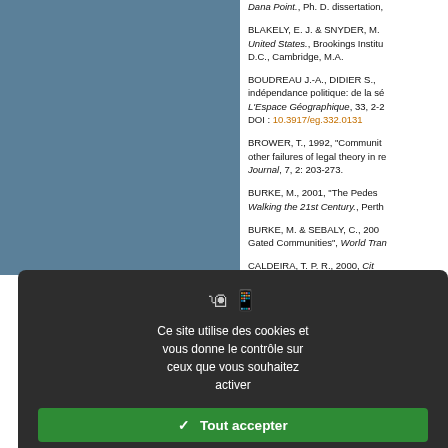Dana Point., Ph. D. dissertation,
BLAKELY, E. J. & SNYDER, M. ... United States., Brookings Institu... D.C., Cambridge, M.A.
BOUDREAU J.-A., DIDIER S., ... indépendance politique: de la sé... L'Espace Géographique, 33, 2-2... DOI : 10.3917/eg.332.0131
BROWER, T., 1992, "Communit... other failures of legal theory in re... Journal, 7, 2: 203-273.
BURKE, M., 2001, "The Pedes... Walking the 21st Century., Perth
BURKE, M. & SEBALY, C., 200... Gated Communities", World Tran...
CALDEIRA, T. P. R., 2000, Cit... Paulo, University of California Pr... DOI : 10.1525/9780520341593
CARVALHO, M., VARKKI GE... Satisfaction in Condominios B...
[Figure (screenshot): Cookie consent modal overlay on a webpage with dark background. Contains icons, text in French about cookies, green 'Tout accepter' button, red 'Tout refuser' button, white 'Personnaliser' button, and 'Politique de confidentialité' link.]